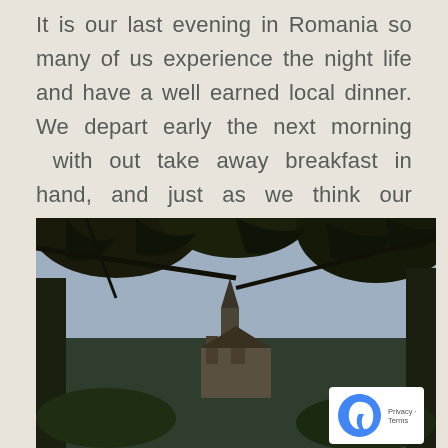It is our last evening in Romania so many of us experience the night life and have a well earned local dinner. We depart early the next morning with out take away breakfast in hand, and just as we think our adventure is over, we make one more stop. We head for Peles Castle on route to the airport and find it lit up in the amazing misty sunrise.
[Figure (photo): Photograph of Peles Castle seen through silhouetted tree branches with dark leaves in the foreground, castle spire visible in center, tall conifer trees surrounding it, blue-grey sky background.]